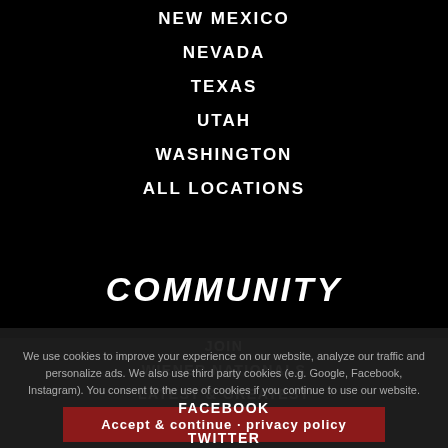NEW MEXICO
NEVADA
TEXAS
UTAH
WASHINGTON
ALL LOCATIONS
COMMUNITY
JOIN
WIENER NATIONALS
LATEST & GREATEST
We use cookies to improve your experience on our website, analyze our traffic and personalize ads. We also use third party cookies (e.g. Google, Facebook, Instagram). You consent to the use of cookies if you continue to use our website.
FACEBOOK
TWITTER